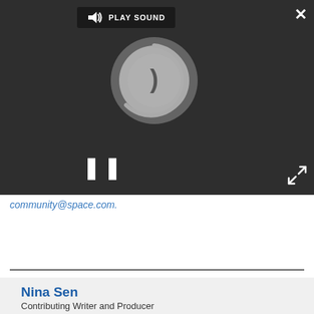[Figure (screenshot): Dark video player UI showing a loading spinner, pause button, PLAY SOUND button with speaker icon, close (X) button, and expand arrows button.]
community@space.com.
Nina Sen
Contributing Writer and Producer
Nina Sen is a freelance writer and producer who covered night sky photography and astronomy for Space.com. She began writing and producing content for Space.com in 2011 with a focus on story and image production, as well as amazing